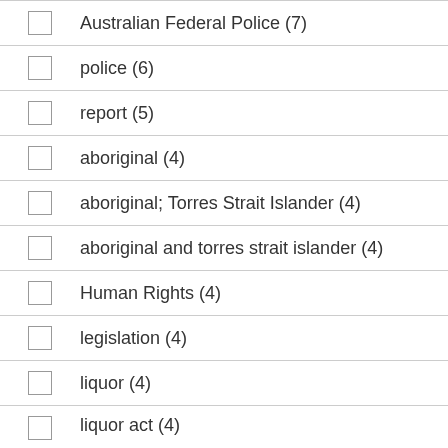Australian Federal Police (7)
police (6)
report (5)
aboriginal (4)
aboriginal; Torres Strait Islander (4)
aboriginal and torres strait islander (4)
Human Rights (4)
legislation (4)
liquor (4)
liquor act (4)